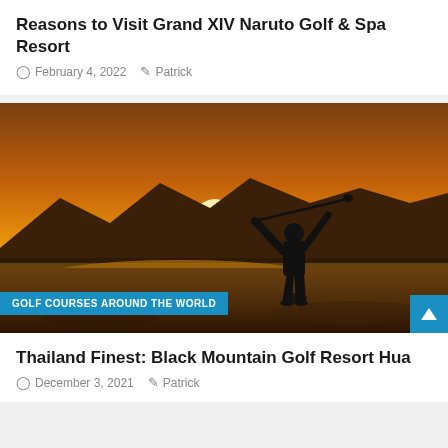Reasons to Visit Grand XIV Naruto Golf & Spa Resort
February 4, 2022  Patrick
[Figure (photo): Silhouette of a golfer swinging a club at sunset/sunrise over a misty golf course with mountains in the background, golden orange sky]
GOLF COURSES AROUND THE WORLD
Thailand Finest: Black Mountain Golf Resort Hua
December 3, 2021  Patrick